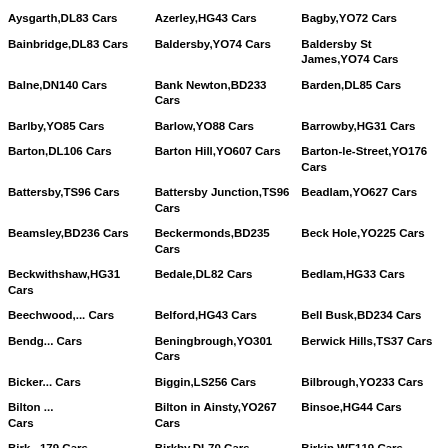Aysgarth,DL83 Cars
Azerley,HG43 Cars
Bagby,YO72 Cars
Bainbridge,DL83 Cars
Baldersby,YO74 Cars
Baldersby St James,YO74 Cars
Balne,DN140 Cars
Bank Newton,BD233 Cars
Barden,DL85 Cars
Barlby,YO85 Cars
Barlow,YO88 Cars
Barrowby,HG31 Cars
Barton,DL106 Cars
Barton Hill,YO607 Cars
Barton-le-Street,YO176 Cars
Battersby,TS96 Cars
Battersby Junction,TS96 Cars
Beadlam,YO627 Cars
Beamsley,BD236 Cars
Beckermonds,BD235 Cars
Beck Hole,YO225 Cars
Beckwithshaw,HG31 Cars
Bedale,DL82 Cars
Bedlam,HG33 Cars
Beechwood,... Cars
Belford,HG43 Cars
Bell Busk,BD234 Cars
Bendg... Cars
Beningbrough,YO301 Cars
Berwick Hills,TS37 Cars
Bicker... Cars
Biggin,LS256 Cars
Bilbrough,YO233 Cars
Bilton ... Cars
Bilton in Ainsty,YO267 Cars
Binsoe,HG44 Cars
Birkdale,... 179 Cars
Birkby,DL70 Cars
Birkin,WF119 Cars
Bishop Monkton,HG33
Bishop Thornton,HG33
Bishopthorpe,YO232